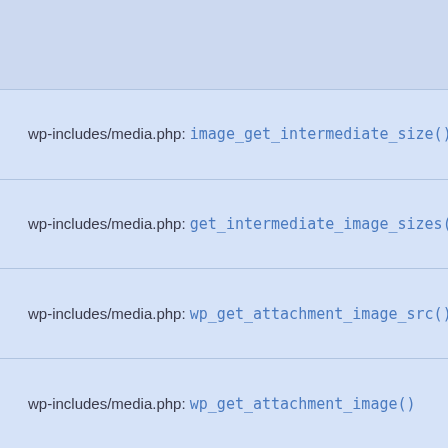wp-includes/media.php: image_get_intermediate_size()
wp-includes/media.php: get_intermediate_image_sizes()
wp-includes/media.php: wp_get_attachment_image_src()
wp-includes/media.php: wp_get_attachment_image()